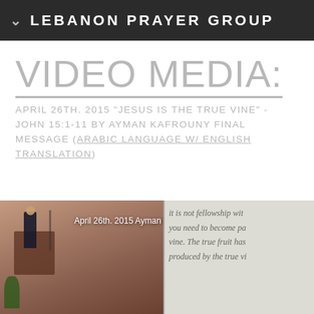LEBANON PRAYER GROUP
VIDEO MEDIA:
APRIL 26TH. 2015 "JESUS IS THE TRUE VINE" - JOHN 15:1-11 BY AYMAN KAFROUNY FINAL MESSAGE (ARABIC LANGUAGE W/ ENGLISH TRANSLATION)
[Figure (screenshot): Video thumbnail showing a speaker at a podium on the left half and a slide with text on the right half. Caption overlay reads: April 26th. 2015 Ayman Kafrouny Final Mes... Right side shows slide text: 'it is not fellowship wit... you need to become pa... vine. The true fruit has... produced by the true vi...']